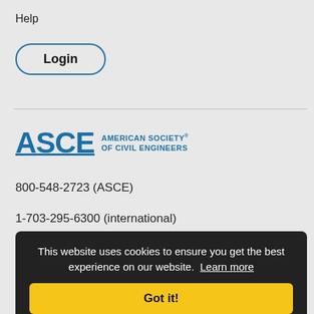Help
Login
[Figure (logo): ASCE American Society of Civil Engineers logo in blue]
800-548-2723 (ASCE)
1-703-295-6300 (international)
This website uses cookies to ensure you get the best experience on our website. Learn more
Got it!